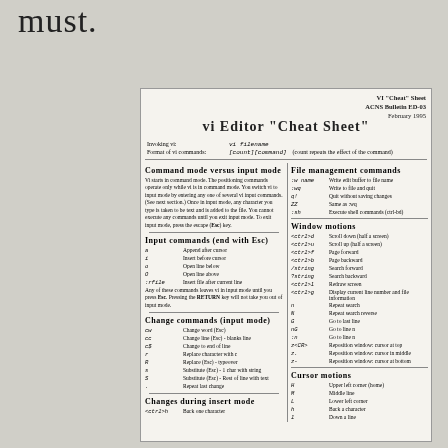must.
VI "Cheat" Sheet
ACNS Bulletin ED-03
February 1995
vi Editor "Cheat Sheet"
Invoking vi:   vi filename
Format of vi commands:   [count][command]   (count repeats the effect of the command)
Command mode versus input mode
Vi starts in command mode. The positioning commands operate only while vi is in command mode. You switch vi to input mode by entering any one of several vi input commands. (See next section.) Once in input mode, any character you type is taken to be text and is added to the file. You cannot execute any commands until you exit input mode. To exit input mode, press the escape (Esc) key.
Input commands (end with Esc)
a   Append after cursor
i   Insert before cursor
o   Open line below
O   Open line above
:r file   Insert file after current line
Any of these commands leaves vi in input mode until you press Esc. Pressing the RETURN key will not take you out of input mode.
Change commands (input mode)
cw   Change word (Esc)
cc   Change line (Esc) - blanks line
c$   Change to end of line
r   Replace character with c
R   Replace (Esc) - typeover
s   Substitute (Esc) - 1 char with string
S   Substitute (Esc) - Rest of line with text
.   Repeat last change
Changes during insert mode
<ctrl>h   Back one character
File management commands
:w name   Write edit buffer to file name
:wq   Write to file and quit
q!   Quit without saving changes
ZZ   Same as :wq
:sh   Execute shell commands (ctrl-bd)
Window motions
<ctrl>d   Scroll down (half a screen)
<ctrl>u   Scroll up (half a screen)
<ctrl>f   Page forward
<ctrl>b   Page backward
/string   Search forward
?string   Search backward
<ctrl>l   Redraw screen
<ctrl>g   Display current line number and file information
n   Repeat search
N   Repeat search reverse
G   Go to last line
nG   Go to line n
:n   Go to line n
z<CR>   Reposition window: cursor at top
z.   Reposition window: cursor in middle
z-   Reposition window: cursor at bottom
Cursor motions
H   Upper left corner (home)
M   Middle line
L   Lower left corner
h   Back a character
l   Down a line